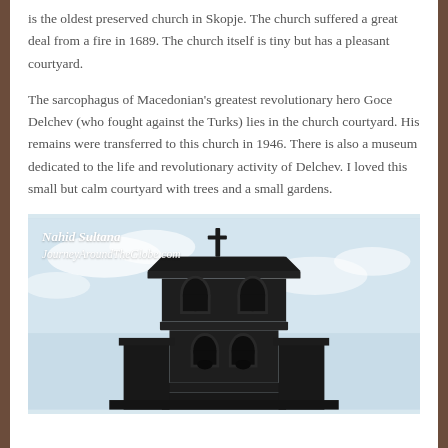is the oldest preserved church in Skopje. The church suffered a great deal from a fire in 1689. The church itself is tiny but has a pleasant courtyard.
The sarcophagus of Macedonian's greatest revolutionary hero Goce Delchev (who fought against the Turks) lies in the church courtyard. His remains were transferred to this church in 1946. There is also a museum dedicated to the life and revolutionary activity of Delchev. I loved this small but calm courtyard with trees and a small gardens.
[Figure (photo): Photo of a dark wooden church bell tower with a cross on top against a light blue sky, with watermark text 'Nahid Sultana JourneyAroundTheGlobe.com' in the upper left corner.]